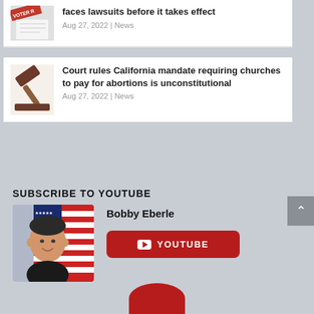faces lawsuits before it takes effect
Aug 27, 2022 | News
Court rules California mandate requiring churches to pay for abortions is unconstitutional
Aug 27, 2022 | News
SUBSCRIBE TO YOUTUBE
Bobby Eberle
[Figure (photo): Photo of Bobby Eberle in front of American flag]